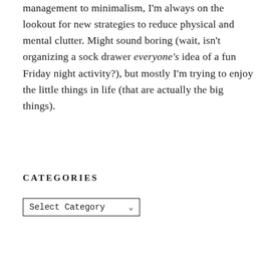management to minimalism, I'm always on the lookout for new strategies to reduce physical and mental clutter. Might sound boring (wait, isn't organizing a sock drawer everyone's idea of a fun Friday night activity?), but mostly I'm trying to enjoy the little things in life (that are actually the big things).
CATEGORIES
[Figure (other): A dropdown select box labeled 'Select Category' with a chevron arrow]